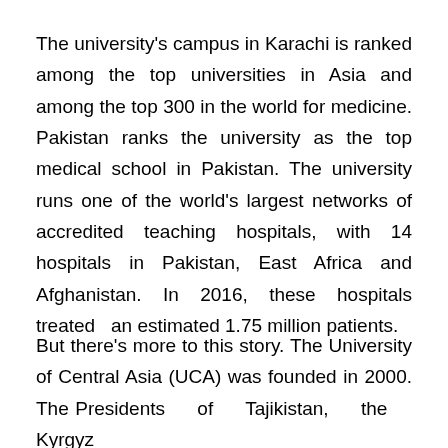The university's campus in Karachi is ranked among the top universities in Asia and among the top 300 in the world for medicine. Pakistan ranks the university as the top medical school in Pakistan. The university runs one of the world's largest networks of accredited teaching hospitals, with 14 hospitals in Pakistan, East Africa and Afghanistan. In 2016, these hospitals treated an estimated 1.75 million patients.
But there's more to this story. The University of Central Asia (UCA) was founded in 2000. The Presidents of Tajikistan, the Kyrgyz